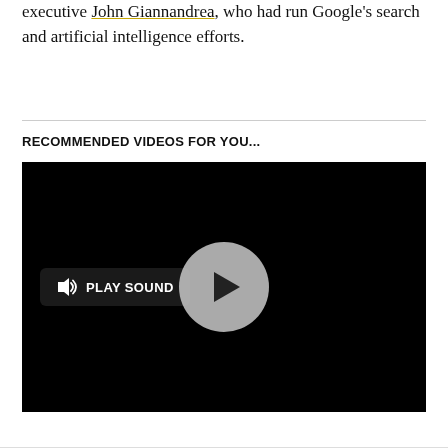executive John Giannandrea, who had run Google's search and artificial intelligence efforts.
RECOMMENDED VIDEOS FOR YOU...
[Figure (screenshot): A video player with black background showing a play button circle in the center and a 'PLAY SOUND' button with speaker icon in the lower left.]